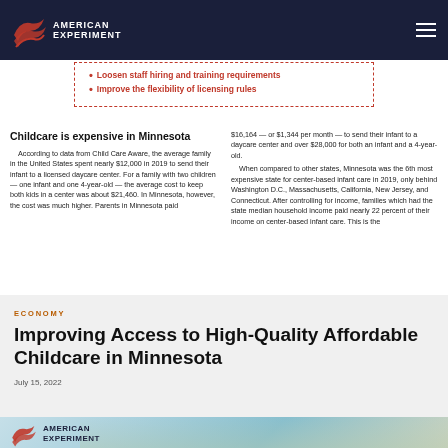American Experiment
Loosen staff hiring and training requirements
Improve the flexibility of licensing rules
Childcare is expensive in Minnesota
According to data from Child Care Aware, the average family in the United States spent nearly $12,000 in 2019 to send their infant to a licensed daycare center. For a family with two children — one infant and one 4-year-old — the average cost to keep both kids in a center was about $21,460. In Minnesota, however, the cost was much higher. Parents in Minnesota paid
$16,164 — or $1,344 per month — to send their infant to a daycare center and over $28,000 for both an infant and a 4-year-old. When compared to other states, Minnesota was the 6th most expensive state for center-based infant care in 2019, only behind Washington D.C., Massachusetts, California, New Jersey, and Connecticut. After controlling for income, families which had the state median household income paid nearly 22 percent of their income on center-based infant care. This is the
ECONOMY
Improving Access to High-Quality Affordable Childcare in Minnesota
July 15, 2022
[Figure (photo): Photo of children at childcare center with American Experiment logo overlay]